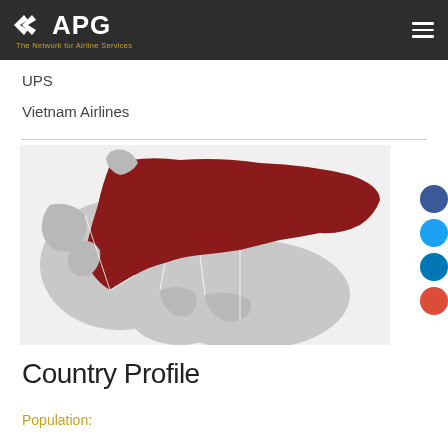APG - The Network for Airline Services
UPS
Vietnam Airlines
[Figure (map): Map showing Russia highlighted in dark red/crimson, with surrounding countries in light grey. The map focuses on Europe, Russia/Central Asia region.]
Country Profile
Population: